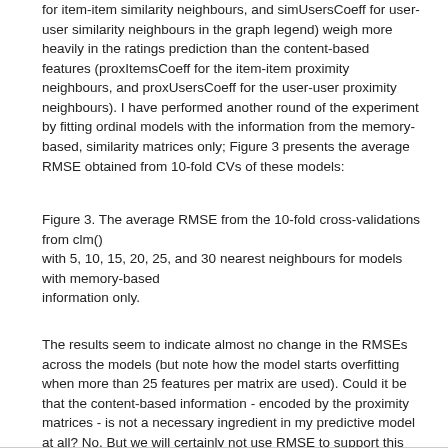for item-item similarity neighbours, and simUsersCoeff for user-user similarity neighbours in the graph legend) weigh more heavily in the ratings prediction than the content-based features (proxItemsCoeff for the item-item proximity neighbours, and proxUsersCoeff for the user-user proximity neighbours). I have performed another round of the experiment by fitting ordinal models with the information from the memory-based, similarity matrices only; Figure 3 presents the average RMSE obtained from 10-fold CVs of these models:
Figure 3. The average RMSE from the 10-fold cross-validations from clm() with 5, 10, 15, 20, 25, and 30 nearest neighbours for models with memory-based information only.
The results seem to indicate almost no change in the RMSEs across the models (but note how the model starts overfitting when more than 25 features per matrix are used). Could it be that the content-based information - encoded by the proximity matrices - is not a necessary ingredient in my predictive model at all? No. But we will certainly not use RMSE to support this conclusion: